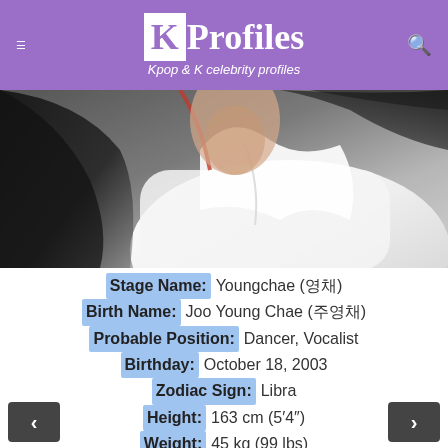KProfiles – Kpop & K celebrity profiles
[Figure (photo): Photo of Youngchae, a young Korean woman with long dark hair and a red highlight, wearing a white top, photographed from the shoulders up against a gray background.]
Stage Name: Youngchae (영채)
Birth Name: Joo Young Chae (주영채)
Probable Position: Dancer, Vocalist
Birthday: October 18, 2003
Zodiac Sign: Libra
Height: 163 cm (5′4″)
Weight: 45 kg (99 lbs)
Blood Type: B
Nationality: Korean